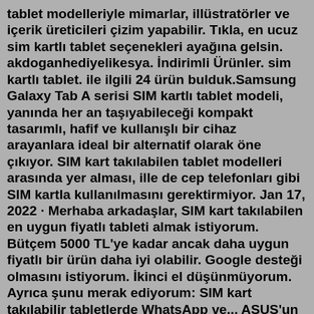tablet modelleriyle mimarlar, illüstratörler ve içerik üreticileri çizim yapabilir. Tıkla, en ucuz sim kartlı tablet seçenekleri ayağına gelsin. akdoganhediyelikesya. İndirimli Ürünler. sim kartlı tablet. ile ilgili 24 ürün bulduk.Samsung Galaxy Tab A serisi SIM kartlı tablet modeli, yanında her an taşıyabileceği kompakt tasarımlı, hafif ve kullanışlı bir cihaz arayanlara ideal bir alternatif olarak öne çıkıyor. SIM kart takılabilen tablet modelleri arasında yer alması, ille de cep telefonları gibi SIM kartla kullanılmasını gerektirmiyor. Jan 17, 2022 · Merhaba arkadaşlar, SIM kart takılabilen en uygun fiyatlı tableti almak istiyorum. Bütçem 5000 TL'ye kadar ancak daha uygun fiyatlı bir ürün daha iyi olabilir. Google desteği olmasını istiyorum. İkinci el düşünmüyorum. Ayrıca şunu merak ediyorum: SIM kart takılabilir tabletlerde WhatsApp ve... ASUS'un akıllı telefon ve tablet özelliklerini buluşturan 7.0 inç ekranlı Fonepad 7 modeli artık çift SIM kart destekli özel bir seçeneğe daha sahip. ASUS Fo... Dec 20, 2015 · Sim kartlı tabletler. Eğer bir tableti her zaman